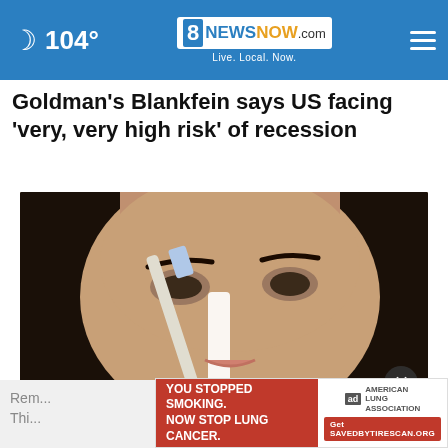104° | 8NewsNOW.com | Live. Local. Now.
Goldman's Blankfein says US facing 'very, very high risk' of recession
[Figure (photo): Close-up photo of a woman with dark hair applying white substance to her nose with a brush]
Rem... Thi...
[Figure (infographic): Advertisement: YOU STOPPED SMOKING. NOW STOP LUNG CANCER. American Lung Association. Get SAVEDBYTIRESCAN.ORG]